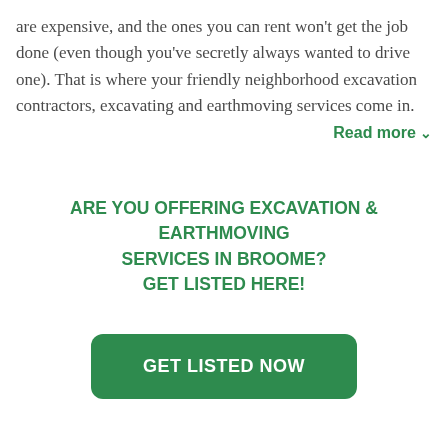are expensive, and the ones you can rent won't get the job done (even though you've secretly always wanted to drive one). That is where your friendly neighborhood excavation contractors, excavating and earthmoving services come in.
Read more ∨
ARE YOU OFFERING EXCAVATION & EARTHMOVING SERVICES IN BROOME? GET LISTED HERE!
GET LISTED NOW